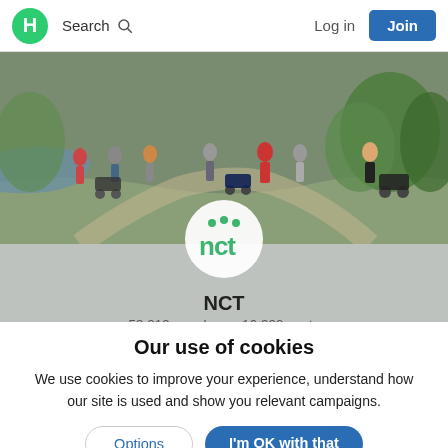H  Search  Log in  Join
[Figure (photo): Banner photo showing a group of parents with pushchairs/strollers walking together in a park]
[Figure (logo): NCT logo — green dots above lowercase 'nct' text in green]
NCT
53,219 members • 16,399 posts
+ Join   ✎ Write
Our use of cookies
We use cookies to improve your experience, understand how our site is used and show you relevant campaigns.
Options   I'm OK with that